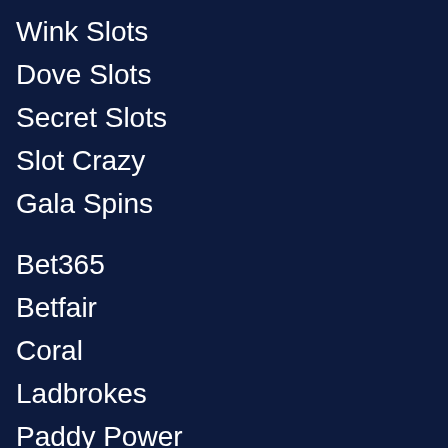Wink Slots
Dove Slots
Secret Slots
Slot Crazy
Gala Spins
Bet365
Betfair
Coral
Ladbrokes
Paddy Power
William Hill
Bwin
888Sport